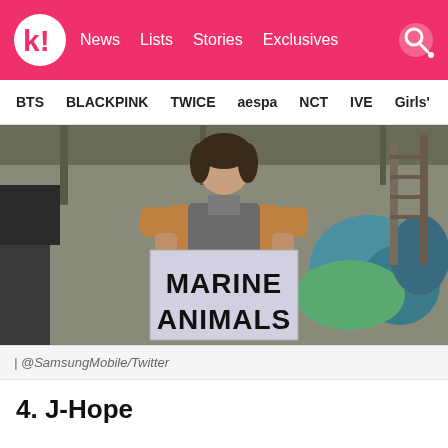koreaboo | News  Lists  Stories  Exclusives
BTS  BLACKPINK  TWICE  aespa  NCT  IVE  Girls'
[Figure (photo): Person holding a sign reading 'MARINE ANIMALS' in a warehouse-like setting with equipment and colored materials in background]
| @SamsungMobile/Twitter
4. J-Hope